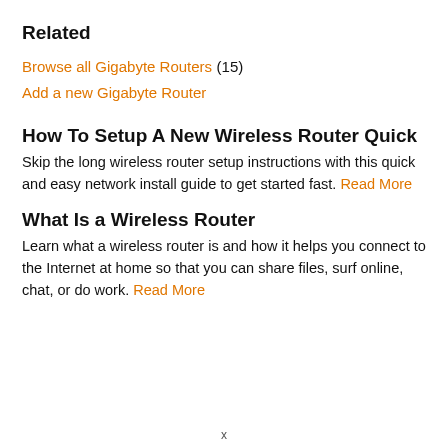Related
Browse all Gigabyte Routers (15)
Add a new Gigabyte Router
How To Setup A New Wireless Router Quick
Skip the long wireless router setup instructions with this quick and easy network install guide to get started fast. Read More
What Is a Wireless Router
Learn what a wireless router is and how it helps you connect to the Internet at home so that you can share files, surf online, chat, or do work. Read More
x